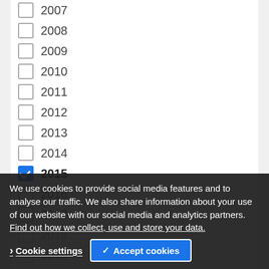2007
2008
2009
2010
2011
2012
2013
2014
2015 (checked)
2016
2017
2018 (partially visible)
2019 (partially visible)
2022 (partially visible)
We use cookies to provide social media features and to analyse our traffic. We also share information about your use of our website with our social media and analytics partners. Find out how we collect, use and store your data.
Cookie settings
Accept cookies